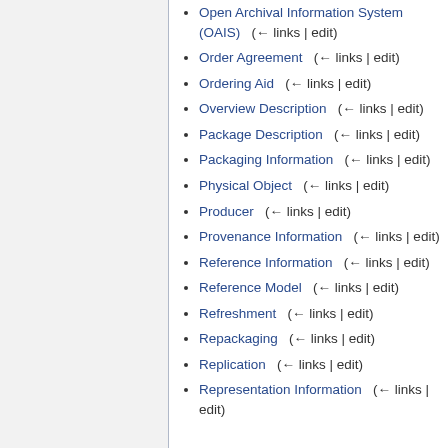Open Archival Information System (OAIS)  (← links | edit)
Order Agreement  (← links | edit)
Ordering Aid  (← links | edit)
Overview Description  (← links | edit)
Package Description  (← links | edit)
Packaging Information  (← links | edit)
Physical Object  (← links | edit)
Producer  (← links | edit)
Provenance Information  (← links | edit)
Reference Information  (← links | edit)
Reference Model  (← links | edit)
Refreshment  (← links | edit)
Repackaging  (← links | edit)
Replication  (← links | edit)
Representation Information  (← links | edit)